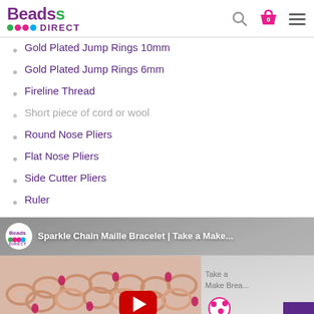Beads DIRECT
Gold Plated Jump Rings 10mm
Gold Plated Jump Rings 6mm
Fireline Thread
Short piece of cord or wool
Round Nose Pliers
Flat Nose Pliers
Side Cutter Pliers
Ruler
[Figure (screenshot): YouTube video thumbnail for 'Sparkle Chain Maille Bracelet | Take a Make...' by Beads Direct, showing a rose gold chain maille bracelet with pink crystals and a play button overlay]